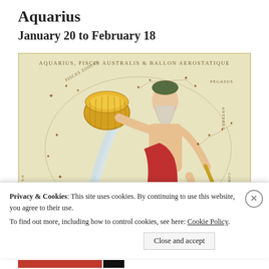Aquarius
January 20 to February 18
[Figure (illustration): Historical celestial map illustration of the Aquarius constellation, labeled 'AQUARIUS, PISCIS AUSTRALIS & BALLON AEROSTATIQUE'. Shows a bearded man pouring water from a large golden jug, with constellation stars and connecting lines, surrounded by neighboring constellations including Pegasus, Capricornes, and others. Colored engraving style.]
Privacy & Cookies: This site uses cookies. By continuing to use this website, you agree to their use.
To find out more, including how to control cookies, see here: Cookie Policy.
Close and accept